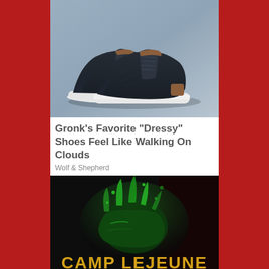[Figure (photo): Product photo of dark navy/black dressy sneakers with white soles and tan leather accents, displayed on a grey-blue surface]
Gronk's Favorite "Dressy" Shoes Feel Like Walking On Clouds
Wolf & Shepherd
[Figure (photo): Advertisement banner for Camp Lejeune Free Case Review, featuring green liquid splash effect on dark background with yellow block letters 'CAMP LEJEUNE' and white text 'FREE CASE REVIEW']